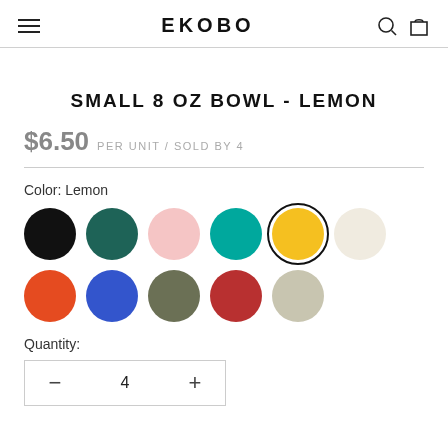EKOBO
SMALL 8 OZ BOWL - LEMON
$6.50 PER UNIT / SOLD BY 4
Color: Lemon
[Figure (other): Color swatches: black, teal, light pink, turquoise, lemon (selected), cream, orange-red, blue, olive, red/rust, light gray]
Quantity:
[Figure (other): Quantity selector box with minus button, value of 4, and plus button]